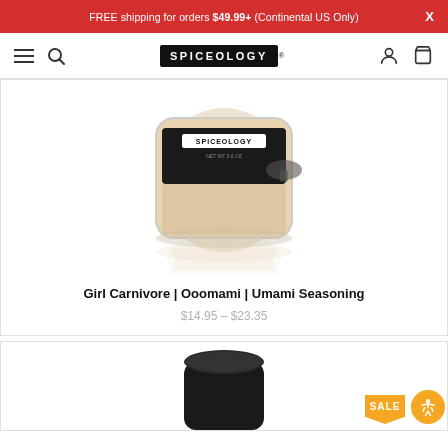FREE shipping for orders $49.99+ (Continental US Only)
[Figure (logo): SPICEOLOGY wordmark logo — white text on black rounded rectangle, with navigation icons (hamburger menu, search, user, cart)]
[Figure (photo): Spiceology brand spice jar with tan/beige powder visible, black label with mushroom graphic, sitting on white surface with reflection below, partially cropped at top]
Girl Carnivore | Ooomami | Umami Seasoning
$14.95 – $23.35
[Figure (photo): Partially visible spice jar with black lid, cropped at bottom of page; orange SALE badge (pentagon shape) and orange accessibility icon button visible in lower right]